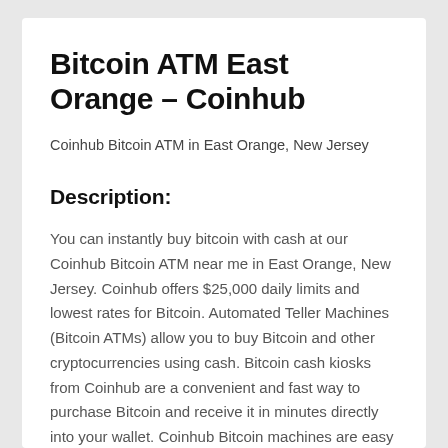Bitcoin ATM East Orange – Coinhub
Coinhub Bitcoin ATM in East Orange, New Jersey
Description:
You can instantly buy bitcoin with cash at our Coinhub Bitcoin ATM near me in East Orange, New Jersey. Coinhub offers $25,000 daily limits and lowest rates for Bitcoin. Automated Teller Machines (Bitcoin ATMs) allow you to buy Bitcoin and other cryptocurrencies using cash. Bitcoin cash kiosks from Coinhub are a convenient and fast way to purchase Bitcoin and receive it in minutes directly into your wallet. Coinhub Bitcoin machines are easy to use and allow buying at